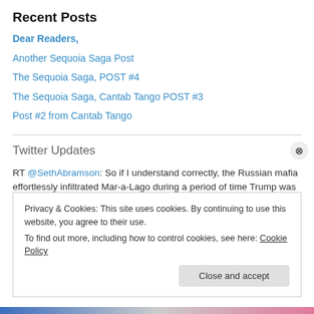Recent Posts
Dear Readers,
Another Sequoia Saga Post
The Sequoia Saga, POST #4
The Sequoia Saga, Cantab Tango POST #3
Post #2 from Cantab Tango
Twitter Updates
RT @SethAbramson: So if I understand correctly, the Russian mafia effortlessly infiltrated Mar-a-Lago during a period of time Trump was sto… 7 hours ago
Privacy & Cookies: This site uses cookies. By continuing to use this website, you agree to their use. To find out more, including how to control cookies, see here: Cookie Policy